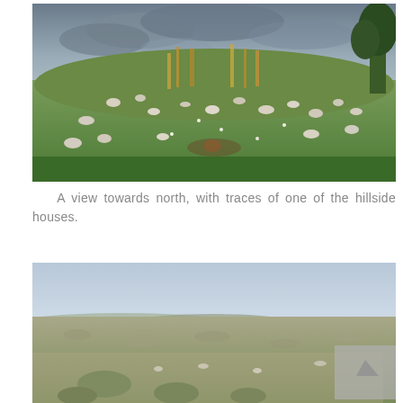[Figure (photo): A landscape photo showing a rocky hillside covered in green vegetation with white rocks scattered across it, wild plants, and a dramatic cloudy sky above. A tree is visible on the right edge.]
A view towards north, with traces of one of the hillside houses.
[Figure (photo): A landscape photo showing a wide open rocky scrubland viewed from a hilltop, with a distant valley and hills visible on the horizon under a hazy sky. A grey rectangle (watermark or overlay) is visible on the right side.]